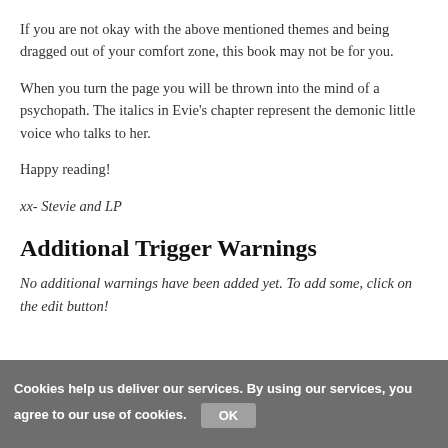If you are not okay with the above mentioned themes and being dragged out of your comfort zone, this book may not be for you.
When you turn the page you will be thrown into the mind of a psychopath. The italics in Evie's chapter represent the demonic little voice who talks to her.
Happy reading!
xx- Stevie and LP
Additional Trigger Warnings
No additional warnings have been added yet. To add some, click on the edit button!
Cookies help us deliver our services. By using our services, you agree to our use of cookies. OK